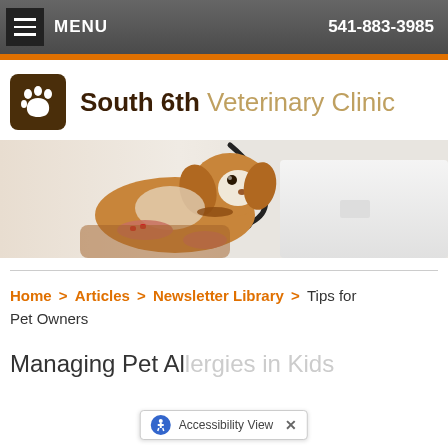MENU  541-883-3985
[Figure (logo): South 6th Veterinary Clinic logo with paw print icon]
[Figure (photo): Photo of a Cavalier King Charles Spaniel being examined by a veterinarian in a white coat with stethoscope]
Home > Articles > Newsletter Library > Tips for Pet Owners
Managing Pet Allergies in Kids